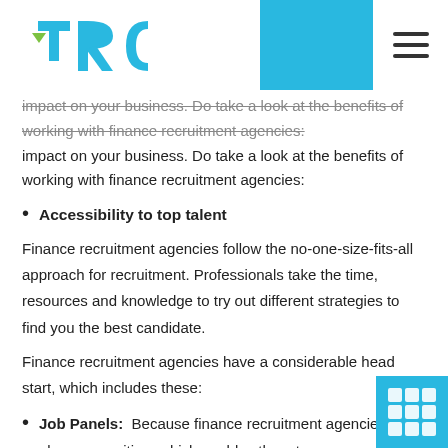[Figure (logo): TRC logo with teal/green stylized letters and blue rectangle block, plus hamburger menu icon on right]
impact on your business. Do take a look at the benefits of working with finance recruitment agencies:
Accessibility to top talent
Finance recruitment agencies follow the no-one-size-fits-all approach for recruitment. Professionals take the time, resources and knowledge to try out different strategies to find you the best candidate.
Finance recruitment agencies have a considerable head start, which includes these:
Job Panels: Because finance recruitment agencies are always recruiting, which enables them to